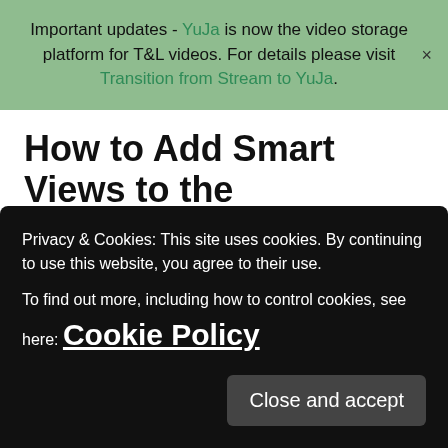Important updates - YuJa is now the video storage platform for T&L videos. For details please visit Transition from Stream to YuJa.
How to Add Smart Views to the Favourites List
You can add Smart Views to the favourites list on the Control Panel so you can access them easily.
1. In the Grade Centre, point to Manage on the action bar and click Smart Views.
Privacy & Cookies: This site uses cookies. By continuing to use this website, you agree to their use.
To find out more, including how to control cookies, see here: Cookie Policy